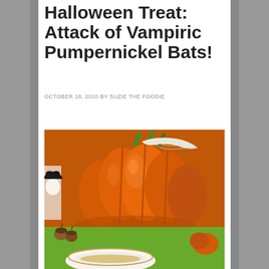Halloween Treat: Attack of Vampiric Pumpernickel Bats!
OCTOBER 18, 2010 BY SUZIE THE FOODIE
6 COMMENTS
[Figure (photo): Close-up photo of orange ceramic pumpkin decorations with green stems and white leaf accents, with acorns and a white bowl with gold rim in the foreground on a green surface, with Halloween bat decorations visible in the background.]